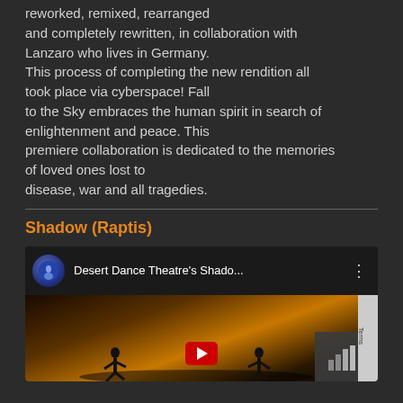reworked, remixed, rearranged and completely rewritten, in collaboration with Lanzaro who lives in Germany. This process of completing the new rendition all took place via cyberspace! Fall to the Sky embraces the human spirit in search of enlightenment and peace. This premiere collaboration is dedicated to the memories of loved ones lost to disease, war and all tragedies.
Shadow (Raptis)
[Figure (screenshot): YouTube video thumbnail showing Desert Dance Theatre's Shadow performance. Dark background with silhouettes of dancers, a circular light glow, and a red play button. Title bar shows 'Desert Dance Theatre's Shado...' with channel avatar.]